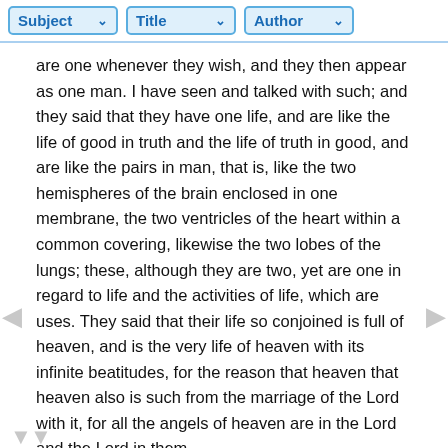Subject | Title | Author
are one whenever they wish, and they then appear as one man. I have seen and talked with such; and they said that they have one life, and are like the life of good in truth and the life of truth in good, and are like the pairs in man, that is, like the two hemispheres of the brain enclosed in one membrane, the two ventricles of the heart within a common covering, likewise the two lobes of the lungs; these, although they are two, yet are one in regard to life and the activities of life, which are uses. They said that their life so conjoined is full of heaven, and is the very life of heaven with its infinite beatitudes, for the reason that heaven that heaven also is such from the marriage of the Lord with it, for all the angels of heaven are in the Lord and the Lord in them.
Furthermore, they said that it is impossible for them